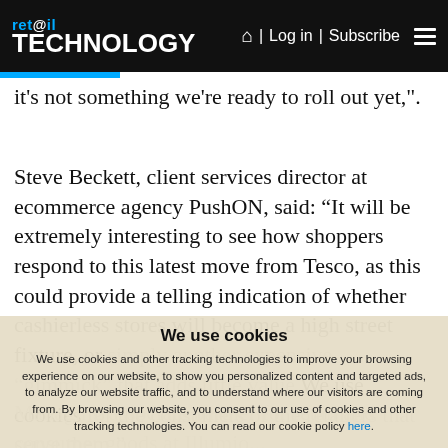ret@il TECHNOLOGY | Log in | Subscribe
it's not something we're ready to roll out yet,".
Steve Beckett, client services director at ecommerce agency PushON, said: “It will be extremely interesting to see how shoppers respond to this latest move from Tesco, as this could provide a telling indication of whether cashierless stores will become a high street fixture, or simply another expensive “gimmick” that adds little value for the consumers or the retailers that serve them.”
We use cookies
We use cookies and other tracking technologies to improve your browsing experience on our website, to show you personalized content and targeted ads, to analyze our website traffic, and to understand where our visitors are coming from. By browsing our website, you consent to our use of cookies and other tracking technologies. You can read our cookie policy here.
Managing associate partner for retail and consumer goods at Illumio...